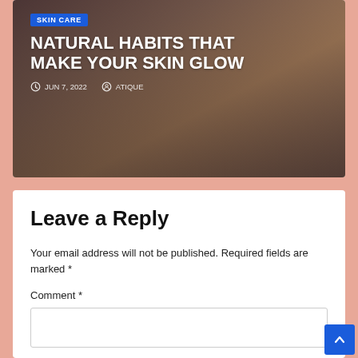[Figure (photo): Blog post card showing a woman's face with glowing skin on a dark warm-toned background, with a blue 'SKIN CARE' badge, bold white title 'NATURAL HABITS THAT MAKE YOUR SKIN GLOW', date 'JUN 7, 2022', and author 'ATIQUE']
NATURAL HABITS THAT MAKE YOUR SKIN GLOW
JUN 7, 2022   ATIQUE
Leave a Reply
Your email address will not be published. Required fields are marked *
Comment *